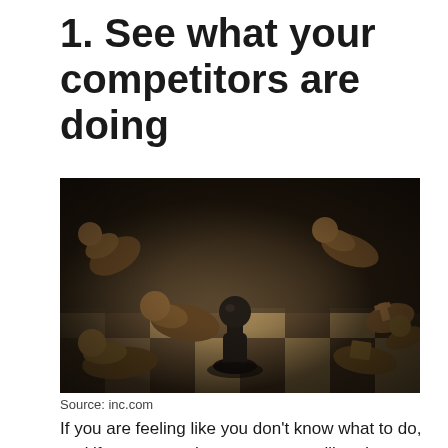1. See what your competitors are doing
[Figure (photo): Close-up photograph of a chess board showing one black pawn standing upright in the center, surrounded by multiple fallen brown wooden chess pieces on a checkered board. The image is shot from a low angle with shallow depth of field.]
Source: inc.com
If you are feeling like you don't know what to do, and if no matter what you try you still end up stuck in the same place, you can see